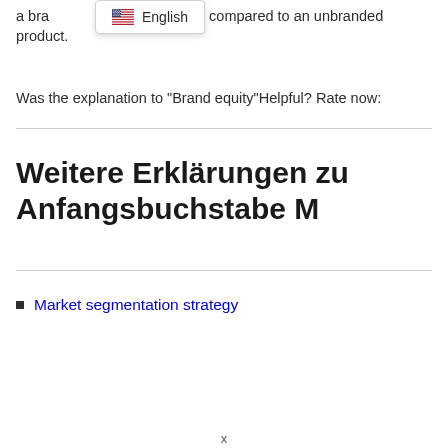a branded product compared to an unbranded product.
[Figure (other): Language selector badge showing US flag and 'English' text]
Was the explanation to "Brand equity"Helpful? Rate now:
Weitere Erklärungen zu Anfangsbuchstabe M
Market segmentation strategy
x